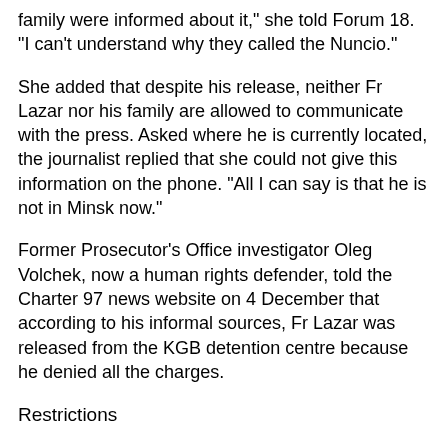family were informed about it," she told Forum 18. "I can't understand why they called the Nuncio."
She added that despite his release, neither Fr Lazar nor his family are allowed to communicate with the press. Asked where he is currently located, the journalist replied that she could not give this information on the phone. "All I can say is that he is not in Minsk now."
Former Prosecutor's Office investigator Oleg Volchek, now a human rights defender, told the Charter 97 news website on 4 December that according to his informal sources, Fr Lazar was released from the KGB detention centre because he denied all the charges.
Restrictions
According to the KGB and General Prosecutor's Office resolution, Fr Lazar has now been placed under restrictions on his movement. Article 120 of the Criminal Procedure Code governs "restrictions on movement and appropriate conduct". It notes that the accused or the suspect is confined to his place of residence "unless he